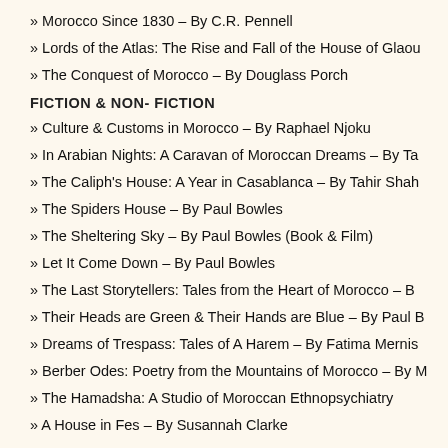» Morocco Since 1830  –  By C.R. Pennell
» Lords of the Atlas: The Rise and Fall of the House of Glaou
» The Conquest of Morocco – By Douglass Porch
FICTION & NON- FICTION
» Culture & Customs in Morocco – By Raphael Njoku
» In Arabian Nights: A Caravan of Moroccan Dreams – By Ta
» The Caliph's House: A Year in Casablanca – By Tahir Shah
» The Spiders House – By Paul Bowles
» The Sheltering Sky – By Paul Bowles (Book & Film)
» Let It Come Down – By Paul Bowles
» The Last Storytellers: Tales from the Heart of Morocco –  B
» Their Heads are Green & Their Hands are Blue – By Paul B
» Dreams of Trespass: Tales of A Harem –  By Fatima Mernis
» Berber Odes: Poetry from the Mountains of Morocco – By M
» The Hamadsha: A Studio of Moroccan Ethnopsychiatry
» A House in Fes –  By Susannah Clarke